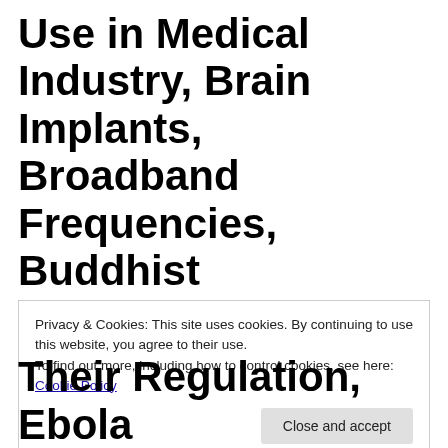Use in Medical Industry, Brain Implants, Broadband Frequencies, Buddhist Mindfulness, Burns Treatment, Cambridge Analytica, Canadian Police Corruption, Cash Free Sweden, Chinese Dragon Factor, Cottaging in
Privacy & Cookies: This site uses cookies. By continuing to use this website, you agree to their use.
To find out more, including how to control cookies, see here: Cookie Policy
Close and accept
Their Regulation, Ebola